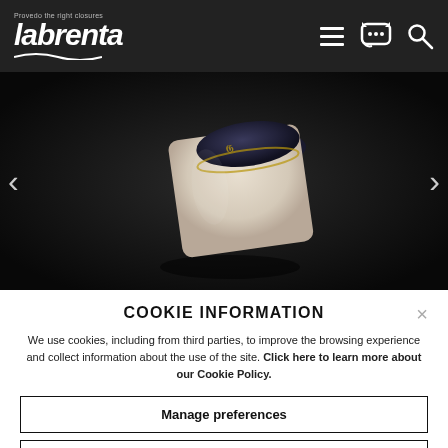labrenta - Provedo the right closures
[Figure (photo): Close-up product photo of a dark navy and cream/white cylindrical cork or closure on a black background]
COOKIE INFORMATION
We use cookies, including from third parties, to improve the browsing experience and collect information about the use of the site. Click here to learn more about our Cookie Policy.
Manage preferences
Reject all
Accept all